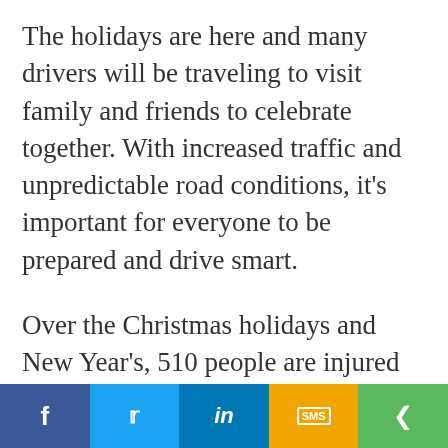The holidays are here and many drivers will be traveling to visit family and friends to celebrate together. With increased traffic and unpredictable road conditions, it's important for everyone to be prepared and drive smart.
Over the Christmas holidays and New Year's, 510 people are injured and two people are killed in 1,890 crashes every year in B.C. That's 35 crashes and nine people injured every hour.*
Here are ICBC's tips to help everyone get